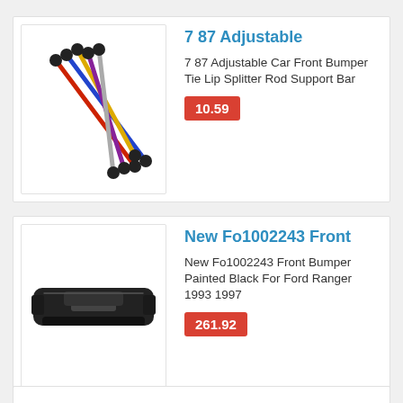[Figure (photo): Colorful adjustable car bumper tie lip splitter rods in multiple colors (red, blue, yellow, purple, silver) laid diagonally]
7 87 Adjustable
7 87 Adjustable Car Front Bumper Tie Lip Splitter Rod Support Bar
10.59
[Figure (photo): Black front bumper for Ford Ranger, molded plastic, viewed from front]
New Fo1002243 Front
New Fo1002243 Front Bumper Painted Black For Ford Ranger 1993 1997
261.92